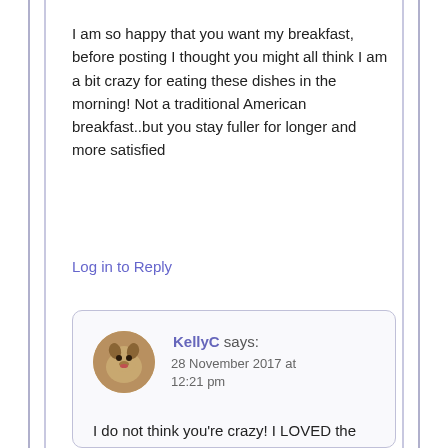I am so happy that you want my breakfast, before posting I thought you might all think I am a bit crazy for eating these dishes in the morning! Not a traditional American breakfast..but you stay fuller for longer and more satisfied
Log in to Reply
KellyC says: 28 November 2017 at 12:21 pm
I do not think you're crazy! I LOVED the breakfast in Korea. It was just more of what they eat other times of day- rice, kimchi, dwaijibulgogi (like spicy pork) etc. So I definitely wish I had some of your breakfast this morning!